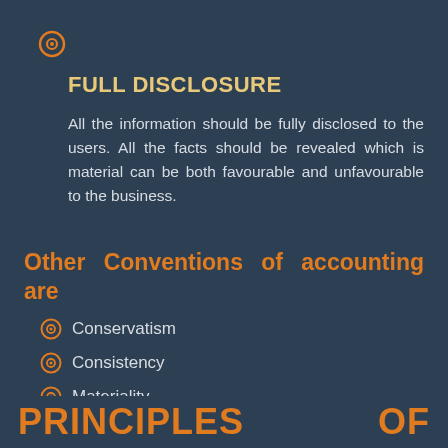[Figure (other): Orange circle bullet icon at top left]
FULL DISCLOSURE
All the information should be fully disclosed to the users. All the facts should be revealed which is material can be both favourable and unfavourable to the business.
Other Conventions of accounting are
Conservatism
Consistency
Materiality
PRINCIPLES                    OF